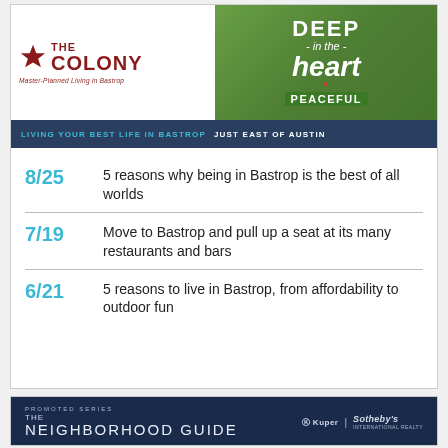[Figure (illustration): The Colony community banner with logo (star + THE COLONY in dark red), 'Deep in the Heart Peaceful' green nature image on right, and tagline bar: 'LIVING YOUR BEST LIFE IN BASTROP  JUST EAST OF AUSTIN']
8/25  5 reasons why being in Bastrop is the best of all worlds
7/19  Move to Bastrop and pull up a seat at its many restaurants and bars
6/21  5 reasons to live in Bastrop, from affordability to outdoor fun
[Figure (illustration): Dark navy promotional banner: 'PROMOTED SERIES / THE / NEIGHBORHOOD GUIDE' with Kuper Sotheby's International Realty logo at bottom left]